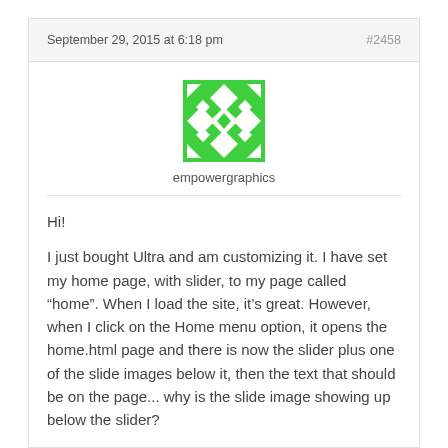September 29, 2015 at 6:18 pm   #2458
[Figure (illustration): Green geometric pattern avatar icon for user empowergraphics]
empowergraphics
Hi!

I just bought Ultra and am customizing it. I have set my home page, with slider, to my page called “home”. When I load the site, it’s great. However, when I click on the Home menu option, it opens the home.html page and there is now the slider plus one of the slide images below it, then the text that should be on the page... why is the slide image showing up below the slider?